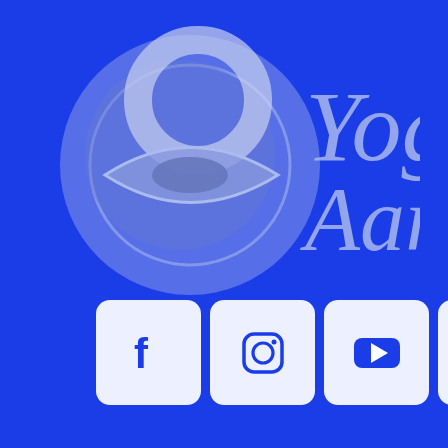[Figure (logo): Yogi Aaron brand logo: circular emblem with wave/petal design in light blue/periwinkle on royal blue background, with stylized text 'Yogi Aaron' in large serif italic font]
[Figure (infographic): Row of four social media icon buttons (Facebook, Instagram, YouTube, Spotify) on white rounded-rectangle backgrounds set against royal blue background]